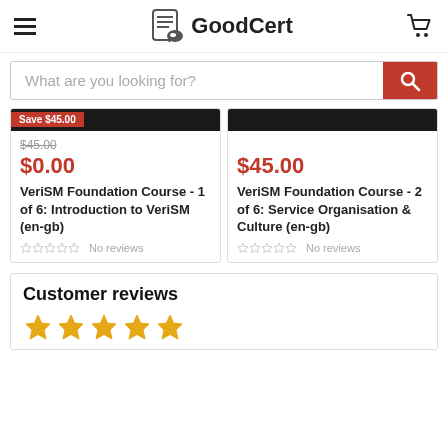GoodCert
What are you looking for?
[Figure (screenshot): Product card: Save $45.00 badge, original price $45.00 strikethrough, sale price $0.00 in red, title: VeriSM Foundation Course - 1 of 6: Introduction to VeriSM (en-gb), No reviews with star rating]
[Figure (screenshot): Product card: sale price $45.00 in red, title: VeriSM Foundation Course - 2 of 6: Service Organisation & Culture (en-gb), No reviews with star rating]
Customer reviews